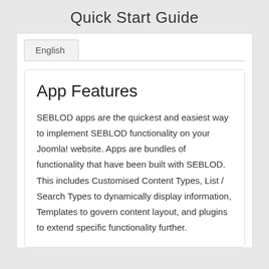Quick Start Guide
English
App Features
SEBLOD apps are the quickest and easiest way to implement SEBLOD functionality on your Joomla! website. Apps are bundles of functionality that have been built with SEBLOD. This includes Customised Content Types, List / Search Types to dynamically display information, Templates to govern content layout, and plugins to extend specific functionality further.